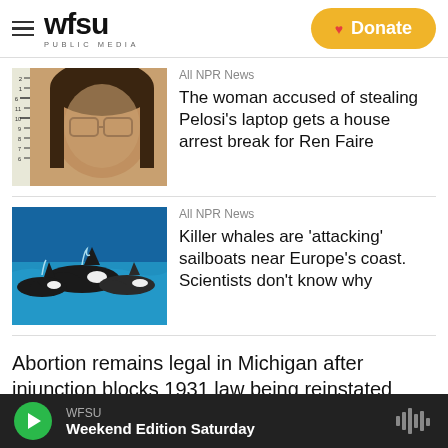[Figure (logo): WFSU Public Media logo with hamburger menu icon]
[Figure (other): Donate button with heart icon on yellow/gold background]
[Figure (photo): Mugshot photo of a woman with glasses and long dark hair against a measurement ruler background]
All NPR News
The woman accused of stealing Pelosi's laptop gets a house arrest break for Ren Faire
[Figure (photo): Photo of killer whales/orcas swimming in blue ocean water near Europe's coast]
All NPR News
Killer whales are 'attacking' sailboats near Europe's coast. Scientists don't know why
Abortion remains legal in Michigan after injunction blocks 1931 law being reinstated
WFSU | Weekend Edition Saturday